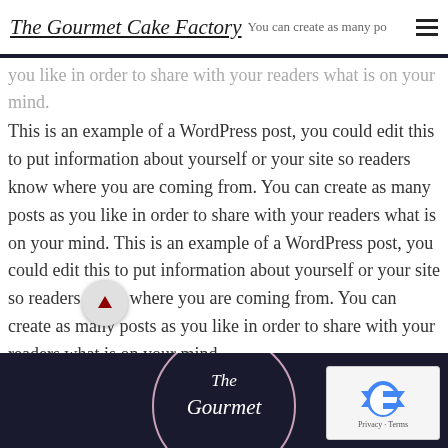The Gourmet Cake Factory — You can create as many posts as you like in order to share with your readers what is on your mind.
This is an example of a WordPress post, you could edit this to put information about yourself or your site so readers know where you are coming from. You can create as many posts as you like in order to share with your readers what is on your mind. This is an example of a WordPress post, you could edit this to put information about yourself or your site so readers know where you are coming from. You can create as many posts as you like in order to share with your readers what is on your mind.
[Figure (logo): The Gourmet Cake Factory logo at bottom of page, dark navy background with script text and circular border]